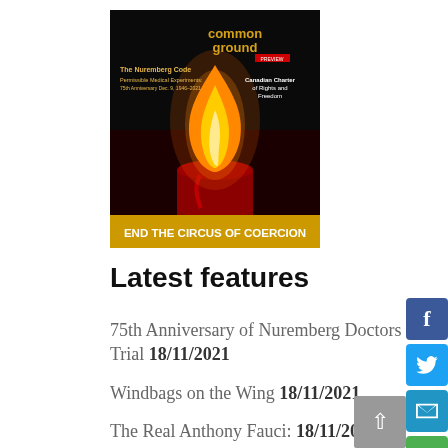[Figure (illustration): Common Ground magazine cover featuring a candle flame on dark background with text 'common ground', 'The Nuremberg Code', 'Permissible Medical Experiments', '75th Anniversary Dec. 9, 1946-2021', 'Canadian Charter of Rights and Freedom', 'END THE CIRCUS OF COERCION']
Latest features
75th Anniversary of Nuremberg Doctors Trial 18/11/2021
Windbags on the Wing 18/11/2021
The Real Anthony Fauci: 18/11/2021
Parents – Protect Your Children